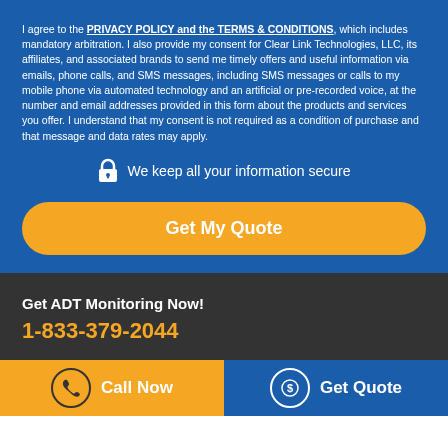I agree to the PRIVACY POLICY and the TERMS & CONDITIONS, which includes mandatory arbitration. I also provide my consent for Clear Link Technologies, LLC, its affiliates, and associated brands to send me timely offers and useful information via emails, phone calls, and SMS messages, including SMS messages or calls to my mobile phone via automated technology and an artificial or pre-recorded voice, at the number and email addresses provided in this form about the products and services you offer. I understand that my consent is not required as a condition of purchase and that message and data rates may apply.
We keep all your information secure
Get My Quote
Get ADT Monitoring Now!
1-833-379-2044
Call Now
Get Quote